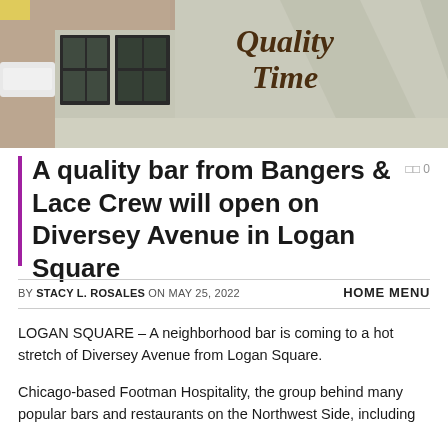[Figure (photo): Exterior photo of a building with 'Quality Time' painted in brown lettering on a beige/grey wall. Black-framed windows visible on the left side. Street and parked white SUV visible in the background.]
A quality bar from Bangers & Lace Crew will open on Diversey Avenue in Logan Square
BY STACY L. ROSALES ON MAY 25, 2022   HOME MENU
LOGAN SQUARE – A neighborhood bar is coming to a hot stretch of Diversey Avenue from Logan Square.
Chicago-based Footman Hospitality, the group behind many popular bars and restaurants on the Northwest Side, including